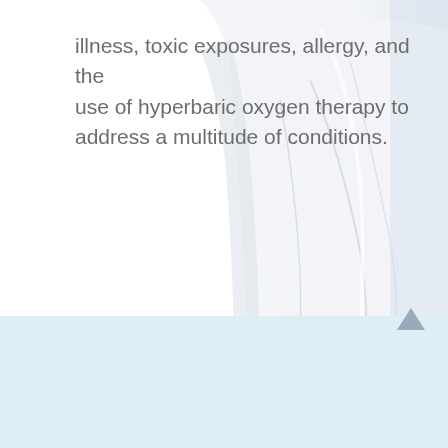illness, toxic exposures, allergy, and the use of hyperbaric oxygen therapy to address a multitude of conditions.
[Figure (photo): Background photo of a person wearing a white medical coat or lab coat, soft light blue tones, partial torso view fading into white background]